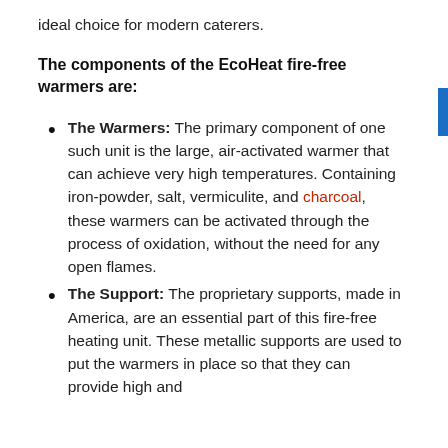ideal choice for modern caterers.
The components of the EcoHeat fire-free warmers are:
The Warmers: The primary component of one such unit is the large, air-activated warmer that can achieve very high temperatures. Containing iron-powder, salt, vermiculite, and charcoal, these warmers can be activated through the process of oxidation, without the need for any open flames.
The Support: The proprietary supports, made in America, are an essential part of this fire-free heating unit. These metallic supports are used to put the warmers in place so that they can provide high and